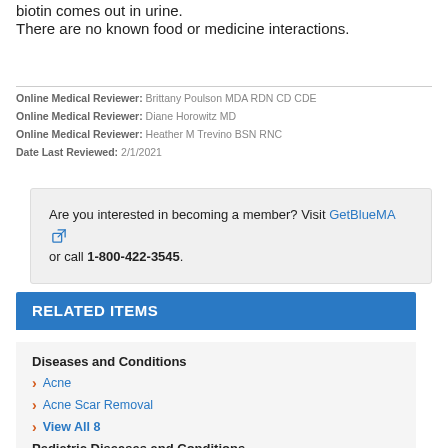biotin comes out in urine.
There are no known food or medicine interactions.
Online Medical Reviewer: Brittany Poulson MDA RDN CD CDE
Online Medical Reviewer: Diane Horowitz MD
Online Medical Reviewer: Heather M Trevino BSN RNC
Date Last Reviewed: 2/1/2021
Are you interested in becoming a member? Visit GetBlueMA or call 1-800-422-3545.
RELATED ITEMS
Diseases and Conditions
Acne
Acne Scar Removal
View All 8
Pediatric Diseases and Conditions
Acne in Children